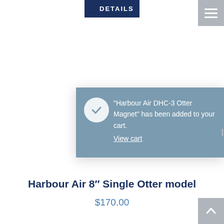DETAILS
"Harbour Air DHC-3 Otter Magnet" has been added to your cart. View cart
Harbour Air 8″ Single Otter model
$170.00